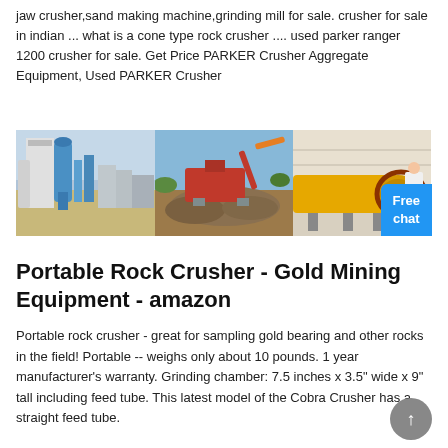jaw crusher,sand making machine,grinding mill for sale. crusher for sale in indian ... what is a cone type rock crusher .... used parker ranger 1200 crusher for sale. Get Price PARKER Crusher Aggregate Equipment, Used PARKER Crusher
[Figure (photo): Banner of three industrial mining equipment photos side by side: (1) industrial grinding/milling plant with blue machinery, (2) red crusher equipment on excavation site with rocks, (3) large yellow horizontal ball mill in warehouse with a person in white coat. A blue 'Free chat' button overlays the bottom-right.]
Portable Rock Crusher - Gold Mining Equipment - amazon
Portable rock crusher - great for sampling gold bearing and other rocks in the field! Portable -- weighs only about 10 pounds. 1 year manufacturer's warranty. Grinding chamber: 7.5 inches x 3.5" wide x 9" tall including feed tube. This latest model of the Cobra Crusher has a straight feed tube.